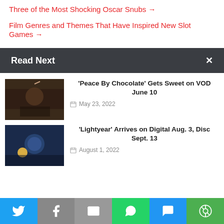Three of the Most Shocking Oscar Snubs →
Film Genres and Themes That Have Inspired New Slot Games →
Read Next
[Figure (photo): Dark indoor scene with a person raising their hand]
'Peace By Chocolate' Gets Sweet on VOD June 10
May 23, 2022
[Figure (photo): Animated characters from Lightyear in space suits]
'Lightyear' Arrives on Digital Aug. 3, Disc Sept. 13
August 1, 2022
Twitter | Facebook | Email | WhatsApp | SMS | More